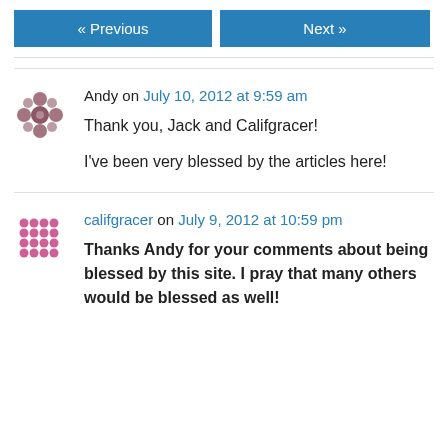« Previous   Next »
Andy on July 10, 2012 at 9:59 am

Thank you, Jack and Califgracer!

I've been very blessed by the articles here!
califgracer on July 9, 2012 at 10:59 pm

Thanks Andy for your comments about being blessed by this site. I pray that many others would be blessed as well!